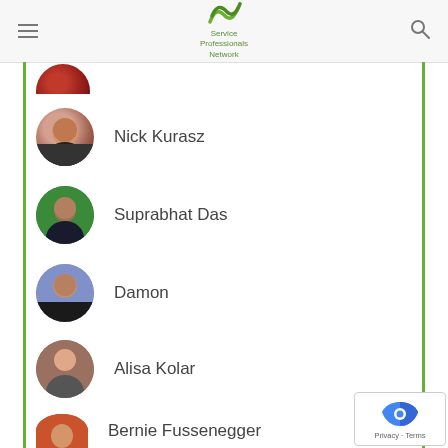Service Professionals Network
Nick Kurasz
Suprabhat Das
Damon
Alisa Kolar
Bernie Fussenegger
Craig Fry